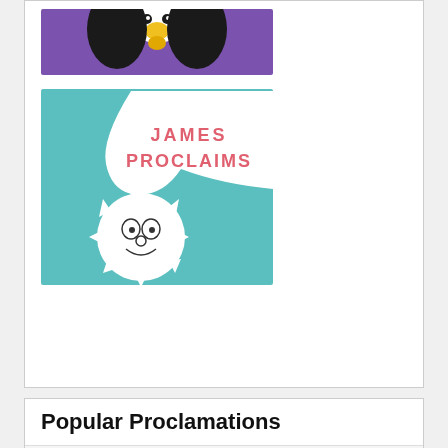[Figure (illustration): Cartoon penguin on purple background, showing head with yellow beak]
[Figure (logo): James Proclaims blog logo: teal background with cartoon sun character and speech bubble saying JAMES PROCLAIMS in pink text]
Popular Proclamations
A Cinquain About The Consequences Of Adopting A New